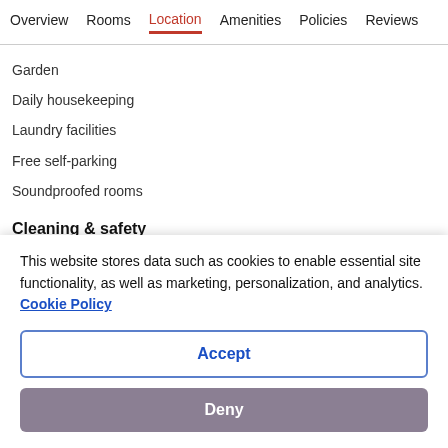Overview  Rooms  Location  Amenities  Policies  Reviews
Garden
Daily housekeeping
Laundry facilities
Free self-parking
Soundproofed rooms
Cleaning & safety
Cleaned with disinfectant
Contactless check-in
This website stores data such as cookies to enable essential site functionality, as well as marketing, personalization, and analytics. Cookie Policy
Accept
Deny